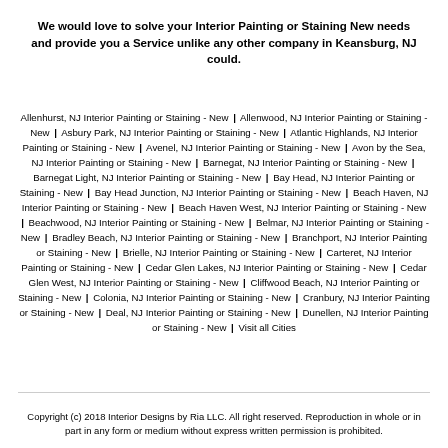We would love to solve your Interior Painting or Staining New needs and provide you a Service unlike any other company in Keansburg, NJ could.
Allenhurst, NJ Interior Painting or Staining - New | Allenwood, NJ Interior Painting or Staining - New | Asbury Park, NJ Interior Painting or Staining - New | Atlantic Highlands, NJ Interior Painting or Staining - New | Avenel, NJ Interior Painting or Staining - New | Avon by the Sea, NJ Interior Painting or Staining - New | Barnegat, NJ Interior Painting or Staining - New | Barnegat Light, NJ Interior Painting or Staining - New | Bay Head, NJ Interior Painting or Staining - New | Bay Head Junction, NJ Interior Painting or Staining - New | Beach Haven, NJ Interior Painting or Staining - New | Beach Haven West, NJ Interior Painting or Staining - New | Beachwood, NJ Interior Painting or Staining - New | Belmar, NJ Interior Painting or Staining - New | Bradley Beach, NJ Interior Painting or Staining - New | Branchport, NJ Interior Painting or Staining - New | Brielle, NJ Interior Painting or Staining - New | Carteret, NJ Interior Painting or Staining - New | Cedar Glen Lakes, NJ Interior Painting or Staining - New | Cedar Glen West, NJ Interior Painting or Staining - New | Cliffwood Beach, NJ Interior Painting or Staining - New | Colonia, NJ Interior Painting or Staining - New | Cranbury, NJ Interior Painting or Staining - New | Deal, NJ Interior Painting or Staining - New | Dunellen, NJ Interior Painting or Staining - New | Visit all Cities
Copyright (c) 2018 Interior Designs by Ria LLC. All right reserved. Reproduction in whole or in part in any form or medium without express written permission is prohibited.